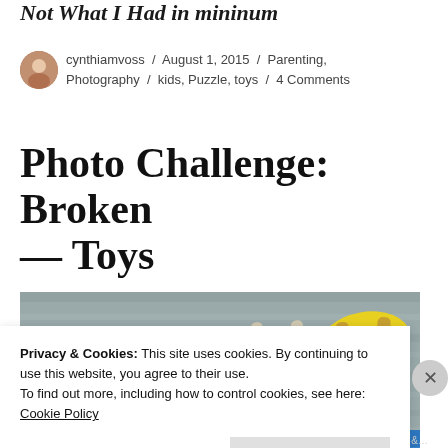Not What I Had in mininum
cynthiamvoss / August 1, 2015 / Parenting, Photography / kids, Puzzle, toys / 4 Comments
Photo Challenge: Broken — Toys
[Figure (photo): Broken toy tools (shovel and rake) lying on a wooden surface. Orange/red handle pieces and a yellow piece visible.]
Privacy & Cookies: This site uses cookies. By continuing to use this website, you agree to their use.
To find out more, including how to control cookies, see here:
Cookie Policy
Close and accept